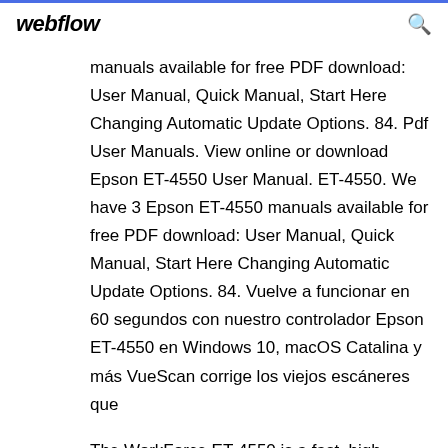webflow
manuals available for free PDF download: User Manual, Quick Manual, Start Here Changing Automatic Update Options. 84. Pdf User Manuals. View online or download Epson ET-4550 User Manual. ET-4550. We have 3 Epson ET-4550 manuals available for free PDF download: User Manual, Quick Manual, Start Here Changing Automatic Update Options. 84. Vuelve a funcionar en 60 segundos con nuestro controlador Epson ET-4550 en Windows 10, macOS Catalina y más VueScan corrige los viejos escáneres que
The WorkForce ET-4550 is a fast, high